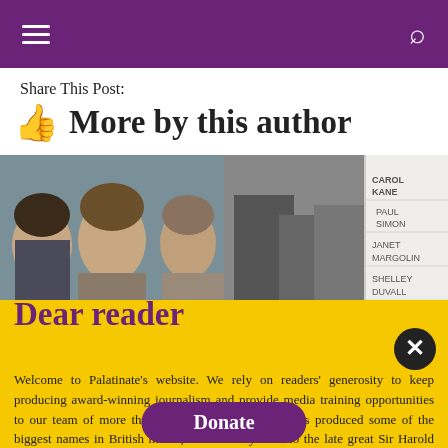Share This Post:
More by this author
[Figure (photo): Two photos side by side: left shows three women faces (film still from Suffragette or similar period drama), right shows a black-and-white image with actor credits: Carol Kane, Paul Simon, Janet Margolin, Shelley Duvall, Christopher Walken]
Dear reader
Welcome to Palatinate's website. We rely on readers' generosity to keep producing award-winning journalism and provide media training opportunities to our team of more than 150 students. Palatinate has produced some of the biggest names in British media, from Jeremy Vine to the late great Sir Harold Evans. Every contribution to Palatinate is an investment into the future of journalism.
Donate